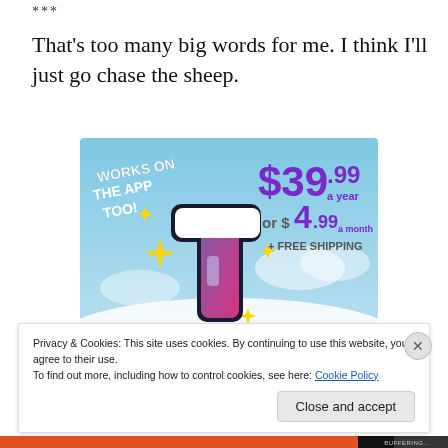***
That's too many big words for me. I think I'll just go chase the sheep.
[Figure (infographic): Tumblr advertisement showing the Tumblr 't' logo with sparkles on a blue sky background. Text reads: 'WORKS ON THE APP TOO!' and pricing '$39.99 a year or $4.99 a month + FREE SHIPPING']
Privacy & Cookies: This site uses cookies. By continuing to use this website, you agree to their use. To find out more, including how to control cookies, see here: Cookie Policy
Close and accept